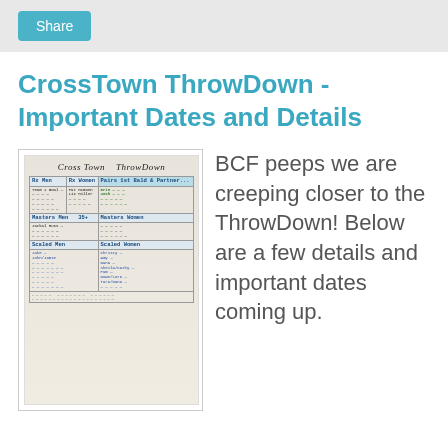Share
CrossTown ThrowDown - Important Dates and Details
[Figure (photo): Photo of a whiteboard showing a handwritten sign-up or schedule table titled 'Cross Town ThrowDown' with columns for different categories and participant names written in marker.]
BCF peeps we are creeping closer to the ThrowDown! Below are a few details and important dates coming up.